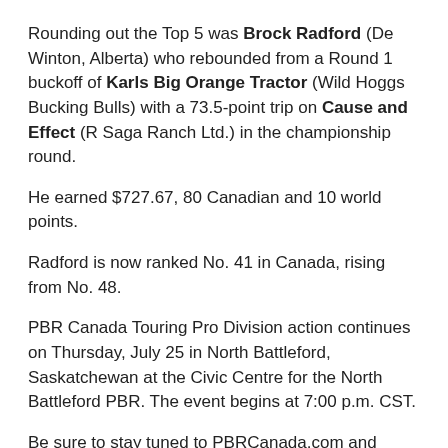Rounding out the Top 5 was Brock Radford (De Winton, Alberta) who rebounded from a Round 1 buckoff of Karls Big Orange Tractor (Wild Hoggs Bucking Bulls) with a 73.5-point trip on Cause and Effect (R Saga Ranch Ltd.) in the championship round.
He earned $727.67, 80 Canadian and 10 world points.
Radford is now ranked No. 41 in Canada, rising from No. 48.
PBR Canada Touring Pro Division action continues on Thursday, July 25 in North Battleford, Saskatchewan at the Civic Centre for the North Battleford PBR. The event begins at 7:00 p.m. CST.
Be sure to stay tuned to PBRCanada.com and follow the tour on Facebook (PBR Canada), Twitter (@PBRCanada), and Instagram (@PBRCanada) for the latest results.